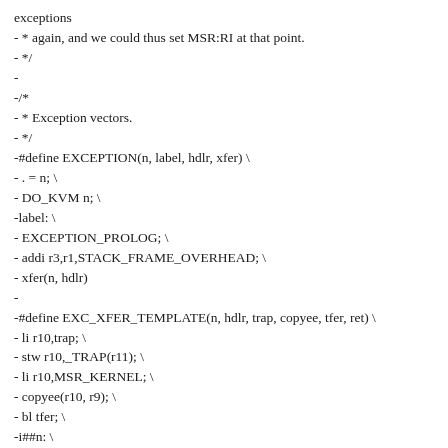exceptions
- * again, and we could thus set MSR:RI at that point.
- */
-
-/*
- * Exception vectors.
- */
-#define EXCEPTION(n, label, hdlr, xfer) \
- . = n; \
- DO_KVM n; \
-label: \
- EXCEPTION_PROLOG; \
- addi r3,r1,STACK_FRAME_OVERHEAD; \
- xfer(n, hdlr)
-
-#define EXC_XFER_TEMPLATE(n, hdlr, trap, copyee, tfer, ret) \
- li r10,trap; \
- stw r10,_TRAP(r11); \
- li r10,MSR_KERNEL; \
- copyee(r10, r9); \
- bl tfer; \
-i##n: \
- .long hdlr; \
- .long ret
-
- ...